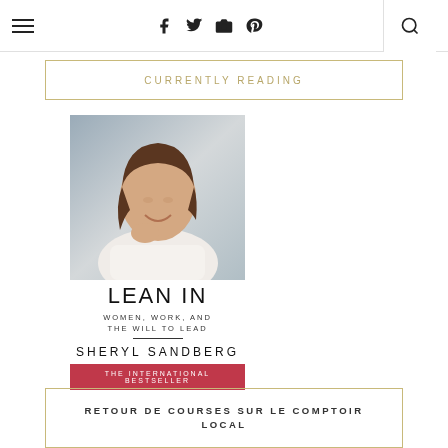☰  f  t  ☷  ⊕  🔍
CURRENTLY READING
[Figure (photo): Book cover of Lean In by Sheryl Sandberg showing a woman smiling with chin resting on hand, wearing a white top]
LEAN IN
WOMEN, WORK, AND THE WILL TO LEAD
SHERYL SANDBERG
THE INTERNATIONAL BESTSELLER
RETOUR DE COURSES SUR LE COMPTOIR LOCAL